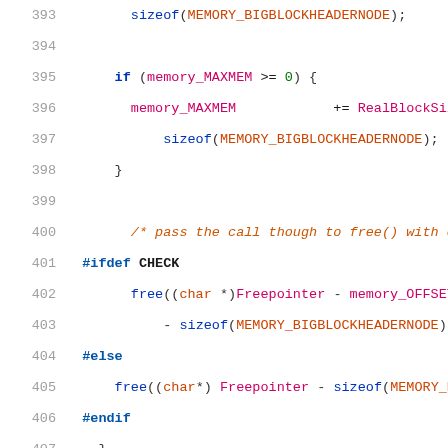[Figure (screenshot): Source code listing lines 393-414 in C programming language with syntax highlighting. Shows memory management code including sizeof calls, if/else blocks, #ifdef/#else/#endif preprocessor directives, free() calls, and comments about memory blocks and freed bytes.]